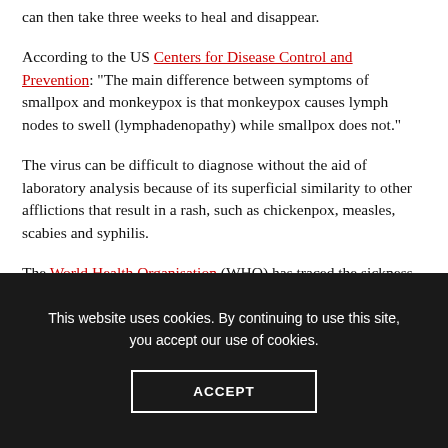can then take three weeks to heal and disappear.
According to the US Centers for Disease Control and Prevention: "The main difference between symptoms of smallpox and monkeypox is that monkeypox causes lymph nodes to swell (lymphadenopathy) while smallpox does not."
The virus can be difficult to diagnose without the aid of laboratory analysis because of its superficial similarity to other afflictions that result in a rash, such as chickenpox, measles, scabies and syphilis.
The World Health Organisation (WHO) has traced the sickness
This website uses cookies. By continuing to use this site, you accept our use of cookies.
ACCEPT